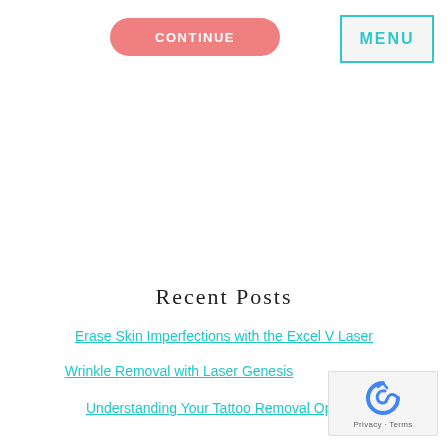CONTINUE
MENU
Recent Posts
Erase Skin Imperfections with the Excel V Laser
Wrinkle Removal with Laser Genesis
Understanding Your Tattoo Removal Options